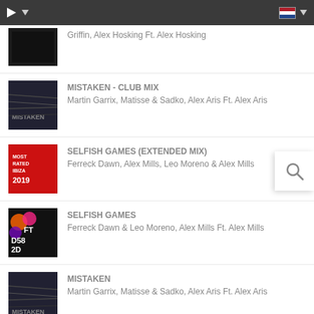Music player app top bar with play button and Dutch flag dropdown
Griffin, Alex Hosking Ft. Alex Hosking
MISTAKEN - CLUB MIX
Martin Garrix, Matisse & Sadko, Alex Aris Ft. Alex Aris
SELFISH GAMES (EXTENDED MIX)
Ferreck Dawn, Alex Mills, Leo Moreno & Alex Mills
SELFISH GAMES
Ferreck Dawn & Leo Moreno, Alex Mills Ft. Alex Mills
MISTAKEN
Martin Garrix, Matisse & Sadko, Alex Aris Ft. Alex Aris